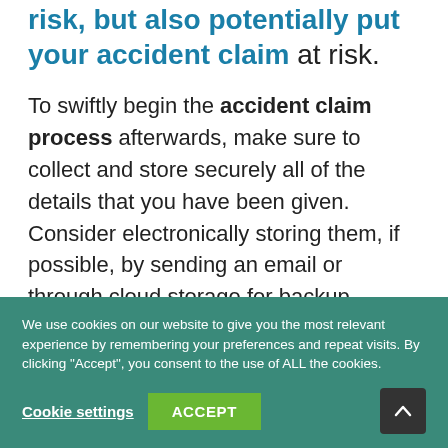risk, but also potentially put your accident claim at risk.
To swiftly begin the accident claim process afterwards, make sure to collect and store securely all of the details that you have been given. Consider electronically storing them, if possible, by sending an email or through cloud storage for backup.
We use cookies on our website to give you the most relevant experience by remembering your preferences and repeat visits. By clicking "Accept", you consent to the use of ALL the cookies.